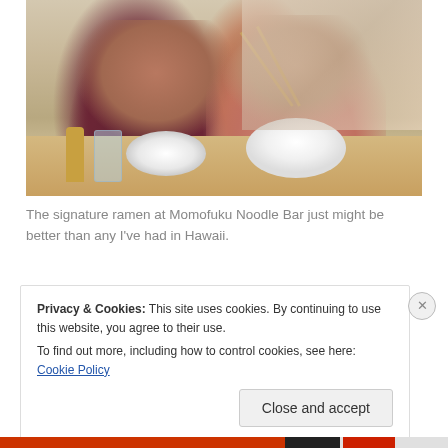[Figure (photo): Two people smiling at a restaurant table with ramen noodles in a white bowl and chopsticks, other diners visible in background]
The signature ramen at Momofuku Noodle Bar just might be better than any I've had in Hawaii.
Privacy & Cookies: This site uses cookies. By continuing to use this website, you agree to their use.
To find out more, including how to control cookies, see here: Cookie Policy
Close and accept